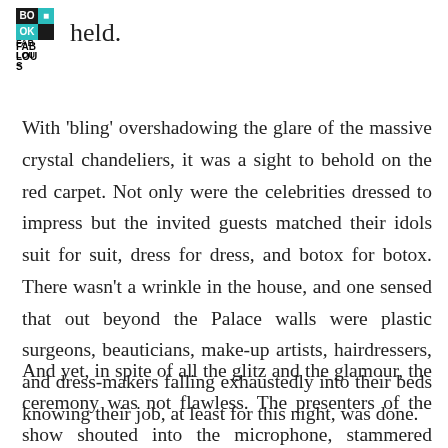[Figure (logo): BookFabulous logo with teal square accent and stylized text reading BO OK FAB LOU S]
held.
With 'bling' overshadowing the glare of the massive crystal chandeliers, it was a sight to behold on the red carpet. Not only were the celebrities dressed to impress but the invited guests matched their idols suit for suit, dress for dress, and botox for botox. There wasn't a wrinkle in the house, and one sensed that out beyond the Palace walls were plastic surgeons, beauticians, make-up artists, hairdressers, and dress-makers falling exhaustedly into their beds knowing their job, at least for this night, was done.
And yet, in spite of all the glitz and the glamour, the ceremony was not flawless. The presenters of the show shouted into the microphone, stammered through the